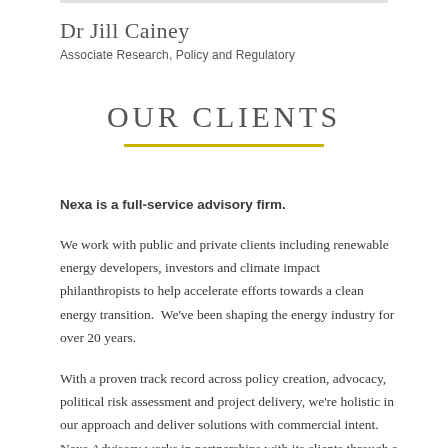Dr Jill Cainey
Associate Research, Policy and Regulatory
OUR CLIENTS
Nexa is a full-service advisory firm.
We work with public and private clients including renewable energy developers, investors and climate impact philanthropists to help accelerate efforts towards a clean energy transition.  We've been shaping the energy industry for over 20 years.
With a proven track record across policy creation, advocacy, political risk assessment and project delivery, we're holistic in our approach and deliver solutions with commercial intent. Nexa Advisory works in partnerships with its clients through a strong focus on enabling a